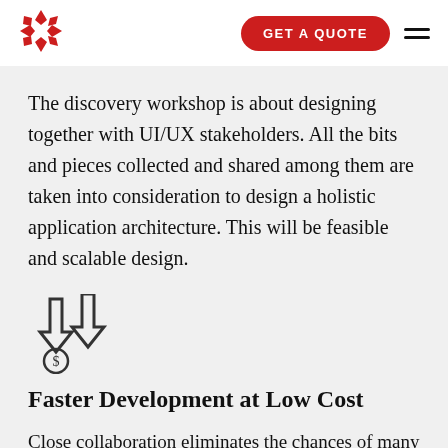GET A QUOTE
[Figure (logo): Red geometric flower/star logo made of diamond shapes]
The discovery workshop is about designing together with UI/UX stakeholders. All the bits and pieces collected and shared among them are taken into consideration to design a holistic application architecture. This will be feasible and scalable design.
[Figure (illustration): Two downward arrows above a dollar coin icon, representing cost reduction]
Faster Development at Low Cost
Close collaboration eliminates the chances of many iterations at the end of the development that may occur due to misunderstandings or lack of information. The